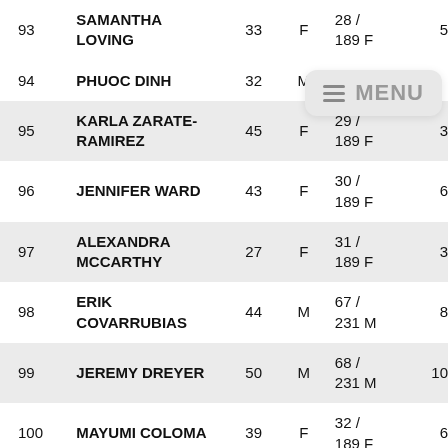| # | Name | Age | Sex | Bib/Cat | Extra |
| --- | --- | --- | --- | --- | --- |
| 93 | SAMANTHA LOVING | 33 | F | 28 /
189 F | 5 |
| 94 | PHUOC DINH | 32 | M | 231 M |  |
| 95 | KARLA ZARATE-RAMIREZ | 45 | F | 29 /
189 F | 3 |
| 96 | JENNIFER WARD | 43 | F | 30 /
189 F | 6 |
| 97 | ALEXANDRA MCCARTHY | 27 | F | 31 /
189 F | 3 |
| 98 | ERIK COVARRUBIAS | 44 | M | 67 /
231 M | 8 |
| 99 | JEREMY DREYER | 50 | M | 68 /
231 M | 10 |
| 100 | MAYUMI COLOMA | 39 | F | 32 /
189 F | 6 |